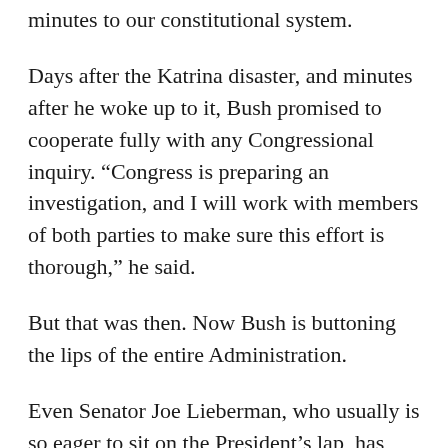minutes to our constitutional system.
Days after the Katrina disaster, and minutes after he woke up to it, Bush promised to cooperate fully with any Congressional inquiry. “Congress is preparing an investigation, and I will work with members of both parties to make sure this effort is thorough,” he said.
But that was then. Now Bush is buttoning the lips of the entire Administration.
Even Senator Joe Lieberman, who usually is so eager to sit on the President’s lap, has registered his displeasure.
“Almost every question our staff has asked federal